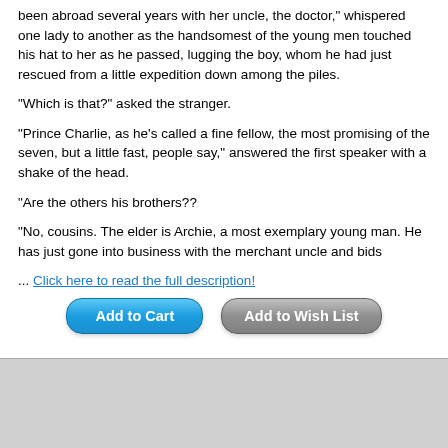been abroad several years with her uncle, the doctor," whispered one lady to another as the handsomest of the young men touched his hat to her as he passed, lugging the boy, whom he had just rescued from a little expedition down among the piles.
"Which is that?" asked the stranger.
"Prince Charlie, as he's called a fine fellow, the most promising of the seven, but a little fast, people say," answered the first speaker with a shake of the head.
"Are the others his brothers??
"No, cousins. The elder is Archie, a most exemplary young man. He has just gone into business with the merchant uncle and bids
... Click here to read the full description!
Add to Cart
Add to Wish List
Rating: